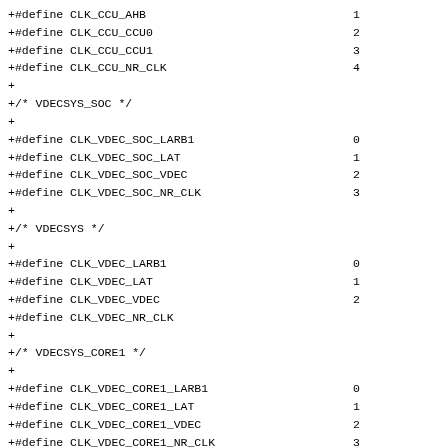+#define CLK_CCU_AHB                              1
+#define CLK_CCU_CCU0                             2
+#define CLK_CCU_CCU1                             3
+#define CLK_CCU_NR_CLK                           4
+
+/* VDECSYS_SOC */
+
+#define CLK_VDEC_SOC_LARB1                       0
+#define CLK_VDEC_SOC_LAT                         1
+#define CLK_VDEC_SOC_VDEC                        2
+#define CLK_VDEC_SOC_NR_CLK                      3
+
+/* VDECSYS */
+
+#define CLK_VDEC_LARB1                           0
+#define CLK_VDEC_LAT                             1
+#define CLK_VDEC_VDEC                            2
+#define CLK_VDEC_NR_CLK                                        3
+
+/* VDECSYS_CORE1 */
+
+#define CLK_VDEC_CORE1_LARB1                     0
+#define CLK_VDEC_CORE1_LAT                       1
+#define CLK_VDEC_CORE1_VDEC                      2
+#define CLK_VDEC_CORE1_NR_CLK                    3
+
+/* APUSYS_PLL */
+
+#define CLK_APUSYS_PLL_APUPLL                    0
+#define CLK_APUSYS_PLL_NPUPLL                    1